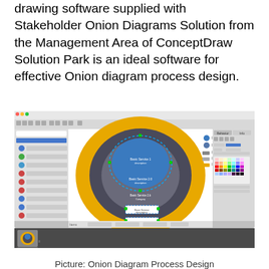drawing software supplied with Stakeholder Onion Diagrams Solution from the Management Area of ConceptDraw Solution Park is an ideal software for effective Onion diagram process design.
[Figure (screenshot): Screenshot of ConceptDraw software showing an Onion Diagram with concentric circles in blue, dark gray, and orange/yellow colors, with a template panel on the left and color palette on the right. Below is a dark taskbar showing an Onion diagram thumbnail.]
Picture: Onion Diagram Process Design